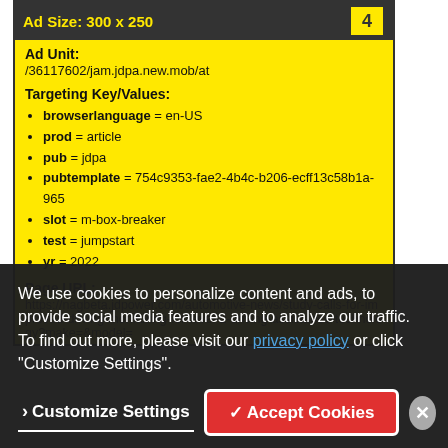Ad Size: 300 x 250
Ad Unit: /36117602/jam.jdpa.new.mob/at
Targeting Key/Values:
browserlanguage = en-US
prod = article
pub = jdpa
pubtemplate = 754c9353-fae2-4b4c-b206-ecff13c58b1a-965
slot = m-box-breaker
test = jumpstart
yr = 2022
Page URL: https://nagbeta.jdpower.com/automotive-news/study-calls-for-improved-driving-monitoring-for-level-2-driving-assistance-technology?make=&model=
We use cookies to personalize content and ads, to provide social media features and to analyze our traffic. To find out more, please visit our privacy policy or click "Customize Settings".